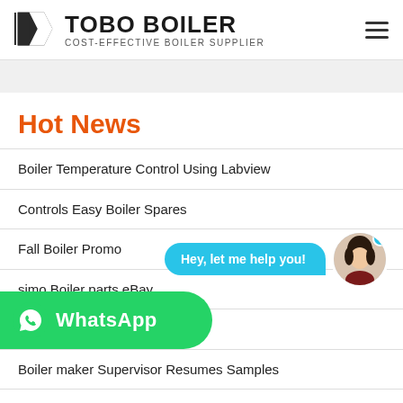[Figure (logo): Tobo Boiler logo with black geometric icon and text 'TOBO BOILER' with subtitle 'COST-EFFECTIVE BOILER SUPPLIER']
Hot News
Boiler Temperature Control Using Labview
Controls Easy Boiler Spares
Fall Boiler Promo
simo Boiler parts eBay
and Vero Coffee
Boiler maker Supervisor Resumes Samples
[Figure (screenshot): Chat widget with speech bubble 'Hey, let me help you!' and avatar of a woman]
[Figure (logo): WhatsApp button overlay with WhatsApp icon and text 'WhatsApp']